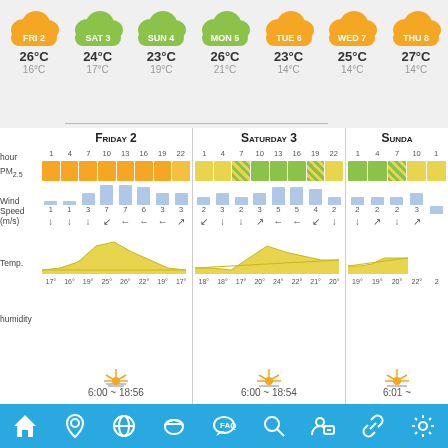[Figure (infographic): Weekly weather forecast showing 7 days (FRI 2 through THU 8) with cloud icons (yellow for sunny, green for cloudy), high/low temperatures, PM2.5 pollution bars, wind speed bars with direction arrows, temperature area charts, humidity labels, and sunrise/sunset times. Bottom navigation bar with icons.]
FRI 2  SAT 3  SUN 4  MON 5  TUE 6  WED 7  THU 8
26°C 16°C  24°C 17°C  23°C 19°C  26°C 21°C  23°C 14°C  25°C 14°C  27°C 14°C
FRIDAY 2  hour 1 4 7 10 13 16 19 22  PM2.5  Wind Speed (m/s) 1 1 3 7 7 6 3 3  Temp. 17° 16° 19° 25° 26° 22° 19° 17°  humidity  6:00 ~ 18:56
SATURDAY 3  hour 1 4 7 10 13 16 19 22  PM2.5  Wind Speed (m/s) 2 3 2 3 5 5 4 2  Temp. 18° 18° 17° 20° 24° 22° 21° 20°  humidity  6:00 ~ 18:54
SUNDA...  hour 1 4 7 10 1...  PM2.5  Wind Speed (m/s) 2 2 2 3...  Temp. 19° 19° 20° 22°...  humidity  6:01 ~